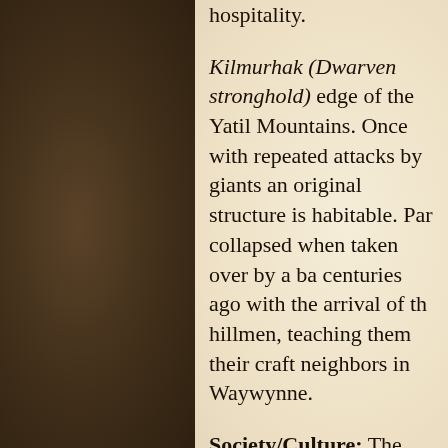hospitality.
Kilmurhak (Dwarven stronghold) edge of the Yatil Mountains. Once with repeated attacks by giants an original structure is habitable. Par collapsed when taken over by a ba centuries ago with the arrival of th hillmen, teaching them their craft neighbors in Waywynne.
Society/Culture: The people of th original Oerid plainsmen who sett who swept across the Flanaess. Ha Cataclysms, this group strived for government. This sense of isolatio Hillmen are fiercely loyal to their
Good relations with the gnomes a these people. They live primarily land. They recognize the valuable protect it from outside influences.